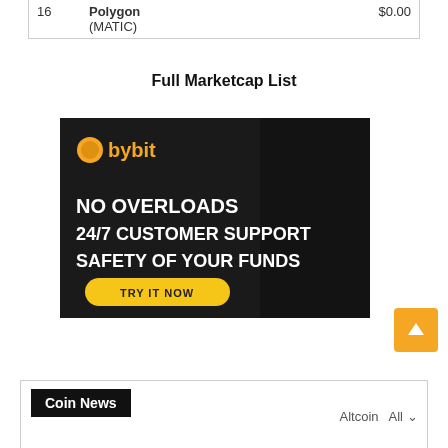| # | Name | Price |
| --- | --- | --- |
| 16 | Polygon (MATIC) | $0.00 |
Full Marketcap List
[Figure (infographic): Bybit advertisement banner with dark background. Shows Bybit logo (orange coin icon + 'bybit' text), text: 'NO OVERLOADS / 24/7 CUSTOMER SUPPORT / SAFETY OF YOUR FUNDS' in large bold white text, and a yellow oval button labeled 'TRY IT NOW'.]
Coin News
Altcoin All